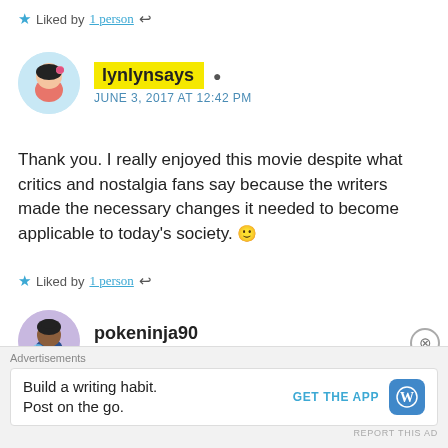★ Liked by 1 person ↩
lynlynsays 👤 JUNE 3, 2017 AT 12:42 PM
Thank you. I really enjoyed this movie despite what critics and nostalgia fans say because the writers made the necessary changes it needed to become applicable to today's society. 🙂
★ Liked by 1 person ↩
pokeninja90 JUNE 3, 2017 AT 9:19 AM
I have yet to see this movie, but from what you wrote it sounds
Advertisements
Build a writing habit.
Post on the go.
GET THE APP